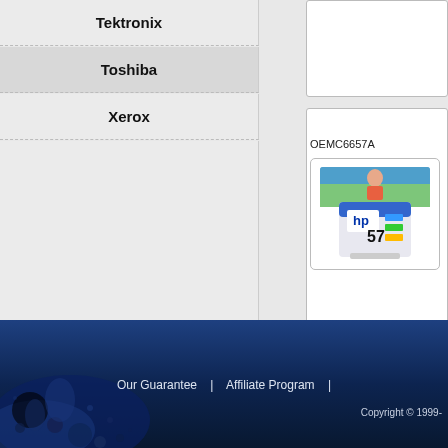Tektronix
Toshiba
Xerox
[Figure (photo): HP 57 color ink cartridge product image]
OEMC6657A
Our Guarantee | Affiliate Program | Copyright © 1999-